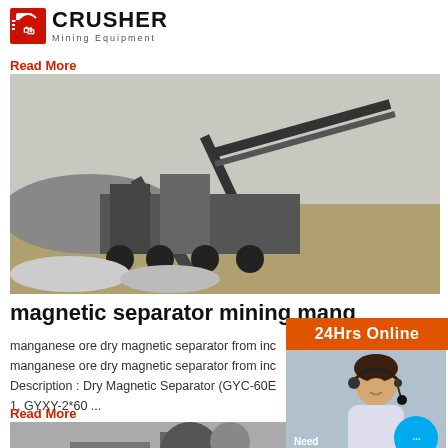[Figure (logo): Crusher Mining Equipment logo with red shopping bag icon and bold CRUSHER text]
Read More
[Figure (photo): Outdoor mining crusher machinery site with conveyor belts and piles of rock]
magnetic separator mining mang
manganese ore dry magnetic separator from inc manganese ore dry magnetic separator from inc Description : Dry Magnetic Separator (GYC-60E 1, GYXY-2*60 ...
Read More
[Figure (photo): Industrial crusher equipment at a mining/demolition site]
[Figure (infographic): 24Hrs Online support sidebar with woman wearing headset, Chat Now button, Enquiry section, and email limingjlmofen@sina.com]